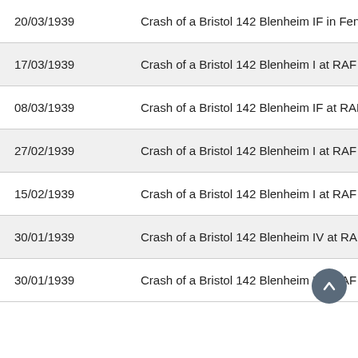| Date | Description |
| --- | --- |
| 20/03/1939 | Crash of a Bristol 142 Blenheim IF in Fenny Com… |
| 17/03/1939 | Crash of a Bristol 142 Blenheim I at RAF Ternhill… |
| 08/03/1939 | Crash of a Bristol 142 Blenheim IF at RAF Uswor… |
| 27/02/1939 | Crash of a Bristol 142 Blenheim I at RAF Wyton:… |
| 15/02/1939 | Crash of a Bristol 142 Blenheim I at RAF North C… |
| 30/01/1939 | Crash of a Bristol 142 Blenheim IV at RAF Odiha… |
| 30/01/1939 | Crash of a Bristol 142 Blenheim I at RAF Waddin… |